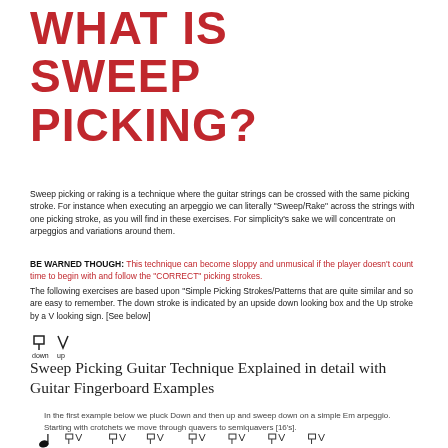WHAT IS SWEEP PICKING?
Sweep picking or raking is a technique where the guitar strings can be crossed with the same picking stroke. For instance when executing an arpeggio we can literally "Sweep/Rake" across the strings with one picking stroke, as you will find in these exercises. For simplicity's sake we will concentrate on arpeggios and variations around them.
BE WARNED THOUGH: This technique can become sloppy and unmusical if the player doesn't count time to begin with and follow the "CORRECT" picking strokes.
The following exercises are based upon "Simple Picking Strokes/Patterns that are quite similar and so are easy to remember. The down stroke is indicated by an upside down looking box and the Up stroke by a V looking sign. [See below]
[Figure (illustration): Down stroke (box symbol) and up stroke (V symbol) icons with labels 'down' and 'up']
Sweep Picking Guitar Technique Explained in detail with Guitar Fingerboard Examples
In the first example below we pluck Down and then up and sweep down on a simple Em arpeggio. Starting with crotchets we move through quavers to semiquavers [16's].
[Figure (illustration): Musical notation symbols showing down and up stroke picking patterns at the bottom of the page]